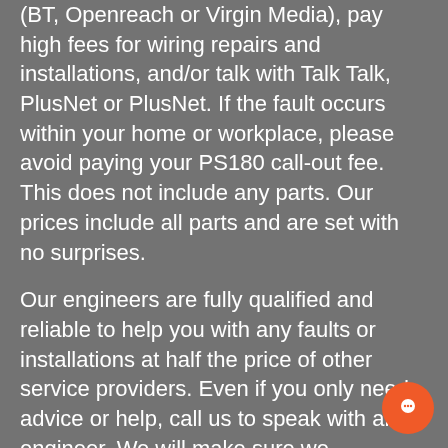(BT, Openreach or Virgin Media), pay high fees for wiring repairs and installations, and/or talk with Talk Talk, PlusNet or PlusNet. If the fault occurs within your home or workplace, please avoid paying your PS180 call-out fee. This does not include any parts. Our prices include all parts and are set with no surprises.
Our engineers are fully qualified and reliable to help you with any faults or installations at half the price of other service providers. Even if you only need advice or help, call us to speak with an engineer. We will make sure we understand your needs and offer a reliable and honest service. All of our engineers have been approved by ECS and CSCS.